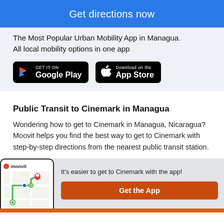Get directions now
The Most Popular Urban Mobility App in Managua. All local mobility options in one app
[Figure (logo): Google Play badge]
[Figure (logo): App Store badge]
Public Transit to Cinemark in Managua
Wondering how to get to Cinemark in Managua, Nicaragua? Moovit helps you find the best way to get to Cinemark with step-by-step directions from the nearest public transit station.
[Figure (screenshot): Moovit app screenshot on phone showing map route]
It's easier to get to Cinemark with the app!
Get the App